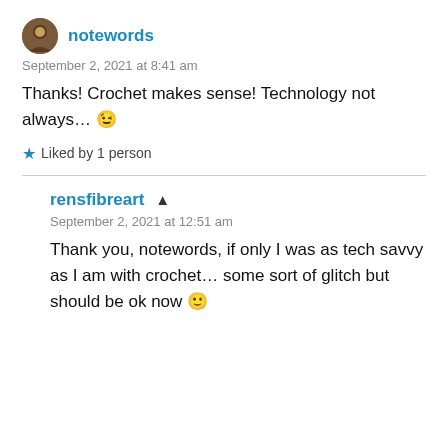notewords
September 2, 2021 at 8:41 am
Thanks! Crochet makes sense! Technology not always... 😉
★ Liked by 1 person
rensfibreart ▲
September 2, 2021 at 12:51 am
Thank you, notewords, if only I was as tech savvy as I am with crochet... some sort of glitch but should be ok now 🙂